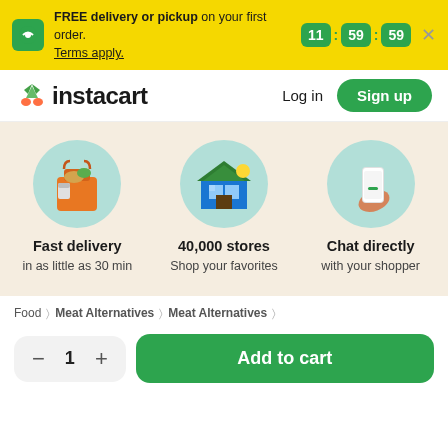FREE delivery or pickup on your first order. Terms apply. 11:59:59
[Figure (logo): Instacart logo with carrot icon]
Log in
Sign up
[Figure (illustration): Three feature circles: grocery bag (Fast delivery), storefront (40,000 stores), hand with phone (Chat directly)]
Fast delivery in as little as 30 min
40,000 stores Shop your favorites
Chat directly with your shopper
Food > Meat Alternatives > Meat Alternatives >
— 1 + Add to cart